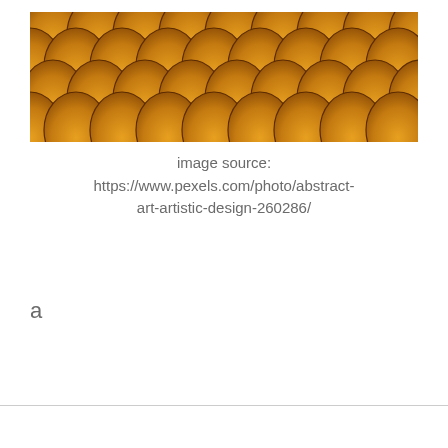[Figure (photo): Close-up photo of overlapping orange/golden roof tiles in a fish-scale pattern, cropped at the top of the frame.]
image source: https://www.pexels.com/photo/abstract-art-artistic-design-260286/
a